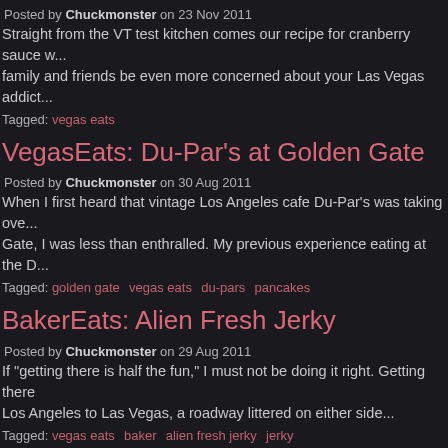Posted by Chuckmonster on 23 Nov 2011
Straight from the VT test kitchen comes our recipe for cranberry sauce w... family and friends be even more concerned about your Las Vegas addict...
Tagged: vegas eats
VegasEats: Du-Par's at Golden Gate
Posted by Chuckmonster on 30 Aug 2011
When I first heard that vintage Los Angeles cafe Du-Par's was taking ove... Gate, I was less than enthralled. My previous experience eating at the D...
Tagged: golden gate   vegas eats   du-pars   pancakes
BakerEats: Alien Fresh Jerky
Posted by Chuckmonster on 29 Aug 2011
If "getting there is half the fun," I must not be doing it right. Getting there Los Angeles to Las Vegas, a roadway littered on either side...
Tagged: vegas eats   baker   alien fresh jerky   jerky
VegasEats: Trop Watch: Winner, Winner, Snapper Din...